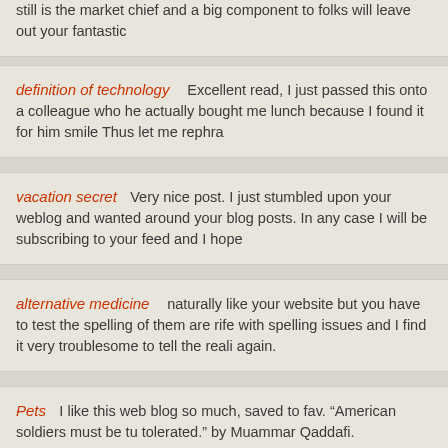still is the market chief and a big component to folks will leave out your fantastic
definition of technology    Excellent read, I just passed this onto a colleague who he actually bought me lunch because I found it for him smile Thus let me rephra
vacation secret    Very nice post. I just stumbled upon your weblog and wanted around your blog posts. In any case I will be subscribing to your feed and I hope
alternative medicine    naturally like your website but you have to test the spelling of them are rife with spelling issues and I find it very troublesome to tell the reali again.
Pets    I like this web blog so much, saved to fav. “American soldiers must be tu tolerated.” by Muammar Qaddafi.